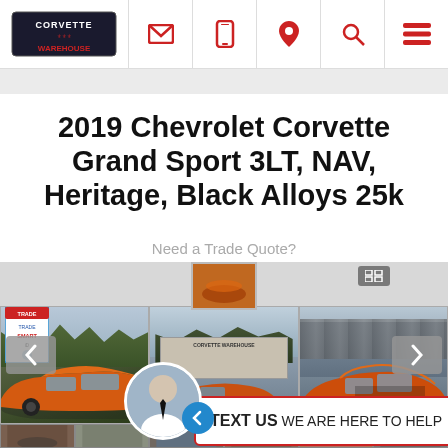Corvette Warehouse - navigation header with logo and icons
2019 Chevrolet Corvette Grand Sport 3LT, NAV, Heritage, Black Alloys 25k
Need a Trade Quote?
[Figure (photo): Photo gallery of a 2019 Chevrolet Corvette Grand Sport in orange color, showing dealership exterior and car from multiple angles. Chat widget overlay with TEXT US WE ARE HERE TO HELP message.]